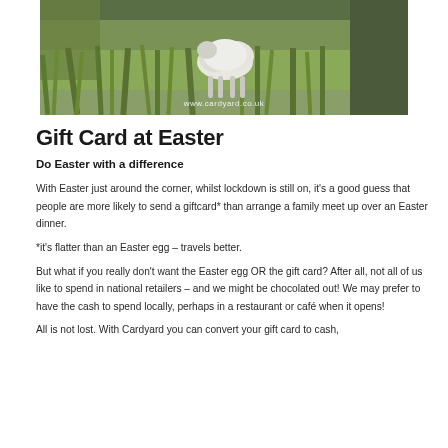[Figure (photo): A pastoral outdoor scene showing a white lamb or sheep in a green grassy field with tall grass, with a watermark 'www.cardyard.co.uk' at the bottom]
Gift Card at Easter
Do Easter with a difference
With Easter just around the corner, whilst lockdown is still on, it's a good guess that people are more likely to send a giftcard* than arrange a family meet up over an Easter dinner.
*it's flatter than an Easter egg – travels better.
But what if you really don't want the Easter egg OR the gift card? After all, not all of us like to spend in national retailers – and we might be chocolated out! We may prefer to have the cash to spend locally, perhaps in a restaurant or café when it opens!
All is not lost. With Cardyard you can convert your gift card to cash,